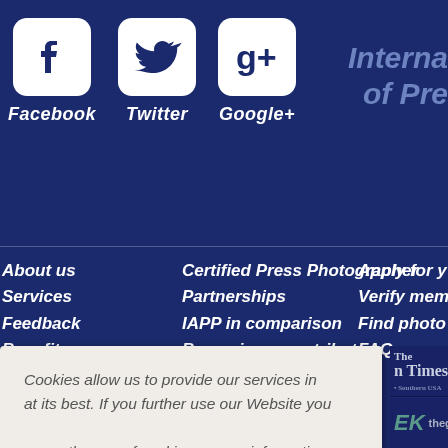[Figure (screenshot): Social media icons row: Facebook (f icon), Twitter (bird icon), Google+ (g+ icon), each with white rounded-square icon and italic white label below]
Interna
of Pre
About us
Services
Feedback
Benefits
Certified Press Photographer
Partnerships
IAPP in comparison
Becoming a contributor
Apply for y
Verify mem
Find photo
FAQ
Cookies allow us to provide our services in at its best. If you further use our Website you agree the use of cookies.  more information
OK